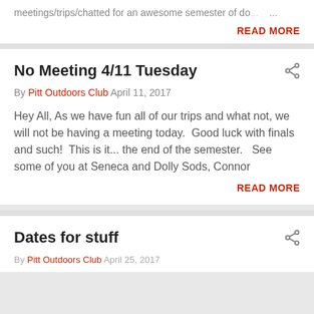meetings/trips/chatted for an awesome semester of do...
READ MORE
No Meeting 4/11 Tuesday
By Pitt Outdoors Club April 11, 2017
Hey All, As we have fun all of our trips and what not, we will not be having a meeting today.  Good luck with finals and such!  This is it... the end of the semester.   See some of you at Seneca and Dolly Sods, Connor
READ MORE
Dates for stuff
By Pitt Outdoors Club April 25, 2017